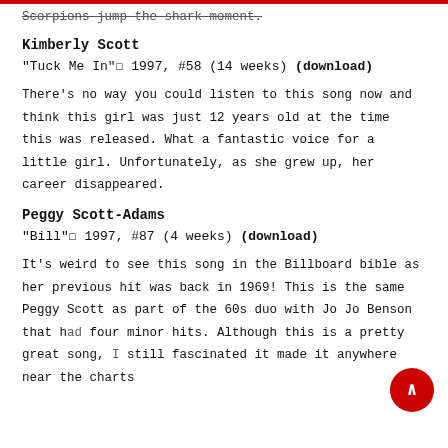Scorpions jump the shark moment.
Kimberly Scott
"Tuck Me In"☐ 1997, #58 (14 weeks) (download)
There's no way you could listen to this song now and think this girl was just 12 years old at the time this was released. What a fantastic voice for a little girl. Unfortunately, as she grew up, her career disappeared.
Peggy Scott-Adams
"Bill"☐ 1997, #87 (4 weeks) (download)
It's weird to see this song in the Billboard bible as her previous hit was back in 1969! This is the same Peggy Scott as part of the 60s duo with Jo Jo Benson that had four minor hits. Although this is a pretty great song, I'm still fascinated it made it anywhere near the charts.